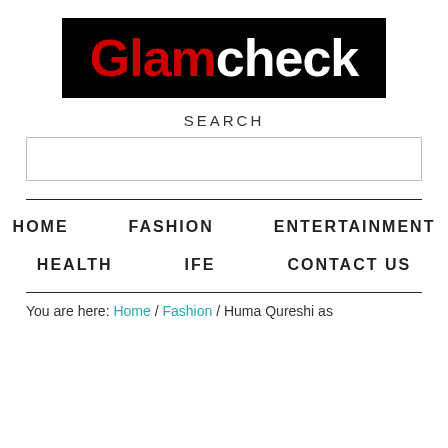[Figure (logo): Glamcheck logo: black background with 'Glam' in red bold text and 'check' in white bold text]
SEARCH
[search input box]
HOME    FASHION    ENTERTAINMENT
HEALTH    IFE    CONTACT US
You are here: Home / Fashion / Huma Qureshi as